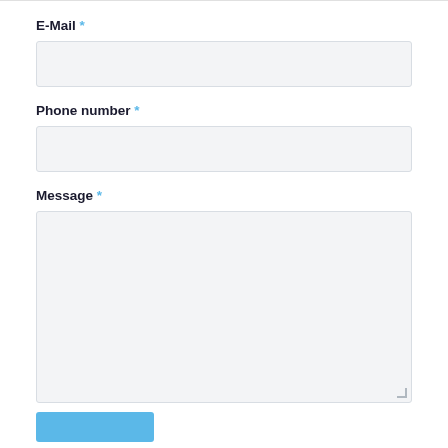E-Mail *
[Figure (other): Empty text input field for E-Mail]
Phone number *
[Figure (other): Empty text input field for Phone number]
Message *
[Figure (other): Empty textarea for Message with resize handle]
[Figure (other): Submit button (blue)]